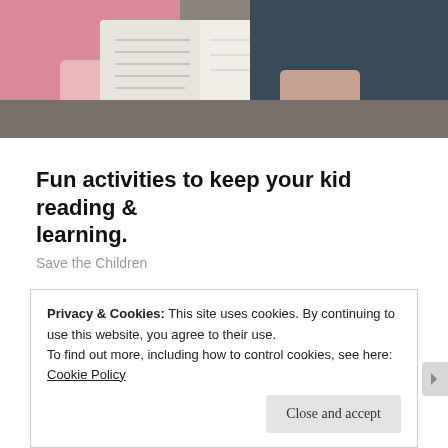[Figure (photo): Two people (one in pink, one in dark blue) sitting on a couch reading a book together, viewed from mid-torso down.]
Fun activities to keep your kid reading & learning.
Save the Children
Share this:
Tweet  Save  5
Loading...
Privacy & Cookies: This site uses cookies. By continuing to use this website, you agree to their use.
To find out more, including how to control cookies, see here: Cookie Policy
Close and accept